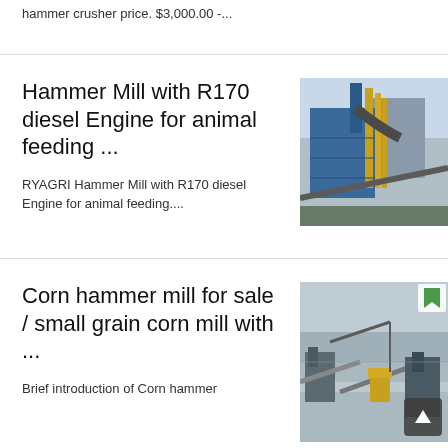hammer crusher price. $3,000.00 -...
Hammer Mill with R170 diesel Engine for animal feeding ...
[Figure (photo): Industrial hammer mill / crusher facility with blue structures and yellow scaffolding]
RYAGRI Hammer Mill with R170 diesel Engine for animal feeding....
Corn hammer mill for sale / small grain corn mill with ...
[Figure (photo): Aerial view of a mining / crushing facility in winter conditions with conveyor belts and machinery]
Brief introduction of Corn hammer